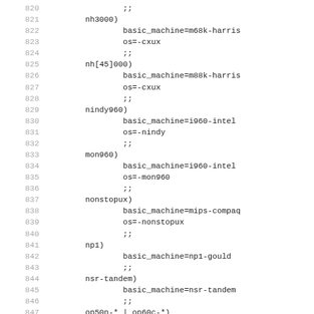Shell script code excerpt, lines 820-851, showing case statement entries for various machine configurations including nh3000, nh[45]000, nindy960, mon960, nonstopux, np1, nsr-tandem, op50n-*/op60c-*, and openrisc patterns with basic_machine and os assignments.